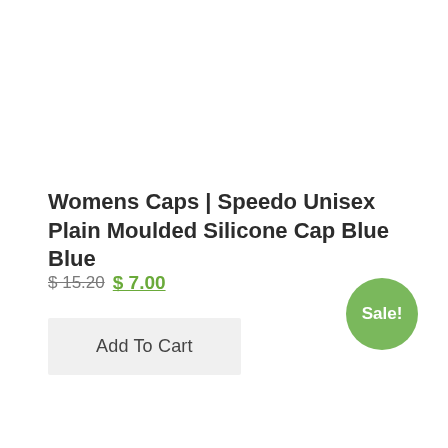Womens Caps | Speedo Unisex Plain Moulded Silicone Cap Blue Blue
$15.20 $7.00
Add To Cart
Sale!